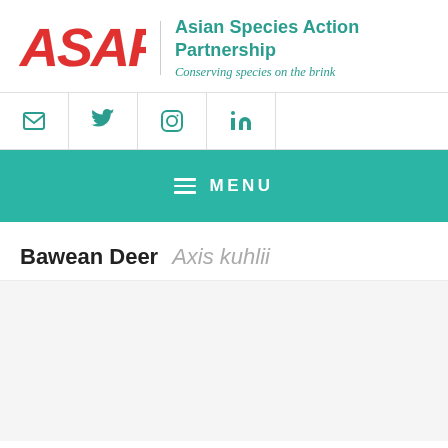ASAP! Asian Species Action Partnership — Conserving species on the brink
Bawean Deer  Axis kuhlii